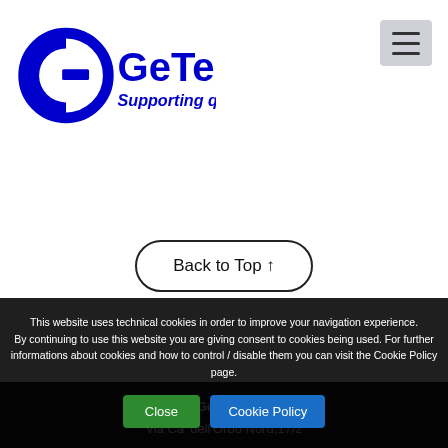[Figure (logo): GeTech logo with circular G icon and blue text 'GeTech Supporting quality']
[Figure (other): Hamburger menu button (three horizontal lines) in a grey rounded rectangle]
Back to Top ↑
© GeTech Srl
Via Ca' dell'Orbo Nord,17/2
40055 - Villanova di Castenaso (BO)
(Italy)
Tel. +39 051 6604187 +39 051 6619942
Fax +39 051 6619943
This website uses technical cookies in order to improve your navigation experience.
By continuing to use this website you are giving consent to cookies being used. For further informations about cookies and how to control / disable them you can visit the Cookie Policy page.
Close
Cookie Policy